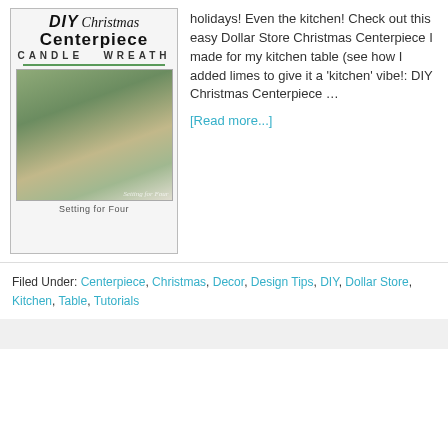[Figure (illustration): DIY Christmas Centerpiece Candle Wreath blog post image with green pine/lime arrangement and white candle on a white tablecloth, 'Setting for Four' watermark]
holidays! Even the kitchen! Check out this easy Dollar Store Christmas Centerpiece I made for my kitchen table (see how I added limes to give it a 'kitchen' vibe!: DIY Christmas Centerpiece …
[Read more...]
Filed Under: Centerpiece, Christmas, Decor, Design Tips, DIY, Dollar Store, Kitchen, Table, Tutorials
Tagged With: christmas, Decor, DIY, dollar store, holiday, kitchen, table, tutorial